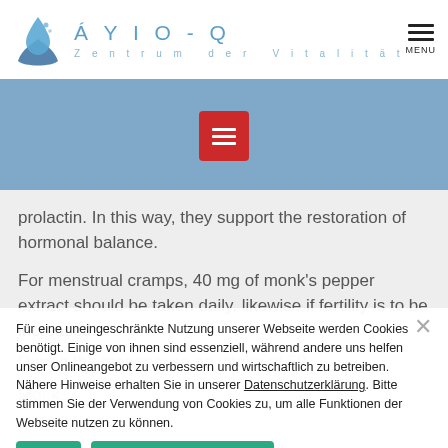ÁYIO-Q Zentrum der Vitalität
[Figure (logo): ÁYIO-Q logo with hands and water drop icon, blue color scheme]
prolactin. In this way, they support the restoration of hormonal balance.
For menstrual cramps, 40 mg of monk's pepper extract should be taken daily, likewise if fertility is to be increased.
During the menopause an intake of 60 Monks... (faded behind cookie overlay)
Für eine uneingeschränkte Nutzung unserer Webseite werden Cookies benötigt. Einige von ihnen sind essenziell, während andere uns helfen unser Onlineangebot zu verbessern und wirtschaftlich zu betreiben. Nähere Hinweise erhalten Sie in unserer Datenschutzerklärung. Bitte stimmen Sie der Verwendung von Cookies zu, um alle Funktionen der Webseite nutzen zu können.
OK
Datenschutzerklärung